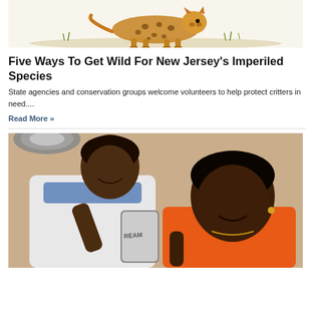[Figure (illustration): Watercolor illustration of a cheetah or similar spotted wild cat walking through grass]
Five Ways To Get Wild For New Jersey's Imperiled Species
State agencies and conservation groups welcome volunteers to help protect critters in need....
Read More »
[Figure (photo): A doctor or healthcare worker in a white coat taking a selfie with a young girl wearing an orange shirt in what appears to be a medical office setting. The phone case reads 'DREAM'.]